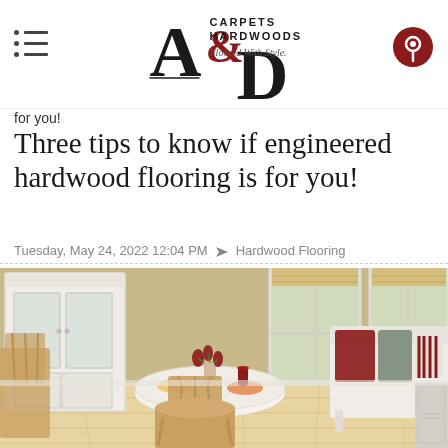A&D Carpets & Hardwoods — Floored With Style
for you!
Three tips to know if engineered hardwood flooring is for you!
Tuesday, May 24, 2022 12:04 PM  Hardwood Flooring
[Figure (photo): Bright dining room with engineered hardwood flooring featuring a white round pedestal table, natural wood chairs, a white china cabinet with glass doors, red flower arrangements, and a wooden bench with red and gray cushions near large windows.]